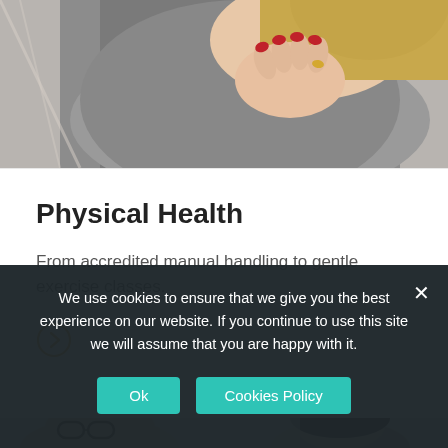[Figure (photo): Person with blond hair touching their shoulder/back area, wearing a grey top, with red nails visible]
Physical Health
From accredited manual handling to gentle exercise classes.
[Figure (illustration): Orange circle with right-pointing chevron/arrow icon]
[Figure (photo): Two people - a man with glasses and a woman with dark hair, partial view]
We use cookies to ensure that we give you the best experience on our website. If you continue to use this site we will assume that you are happy with it.